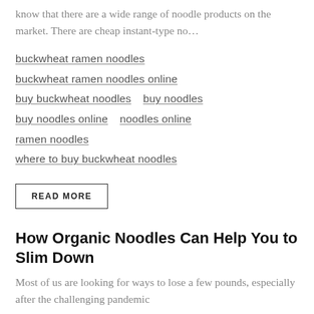know that there are a wide range of noodle products on the market. There are cheap instant-type no…
buckwheat ramen noodles
buckwheat ramen noodles online
buy buckwheat noodles   buy noodles
buy noodles online   noodles online
ramen noodles
where to buy buckwheat noodles
READ MORE
How Organic Noodles Can Help You to Slim Down
Most of us are looking for ways to lose a few pounds, especially after the challenging pandemic